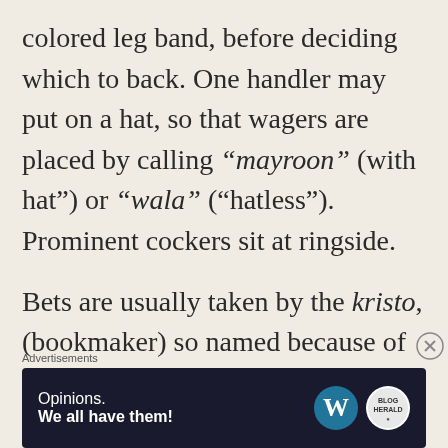colored leg band, before deciding which to back. One handler may put on a hat, so that wagers are placed by calling "mayroon" (with hat") or "wala" ("hatless"). Prominent cockers sit at ringside.
Bets are usually taken by the kristo, (bookmaker) so named because of his outstretched hands when calling out wagers from the audience. He
Advertisements
[Figure (other): Advertisement banner: dark navy background with text 'Opinions. We all have them!' and WordPress logo and a circular brand logo on the right]